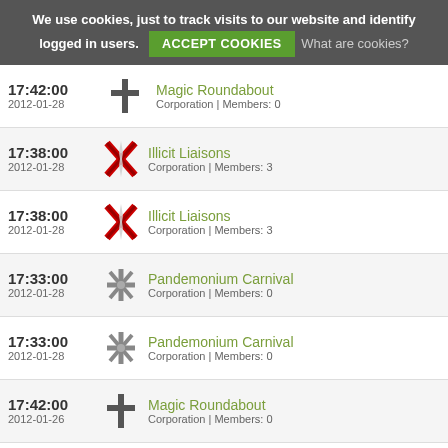We use cookies, just to track visits to our website and identify logged in users. ACCEPT COOKIES What are cookies?
17:42:00 2012-01-28 Magic Roundabout Corporation | Members: 0
17:38:00 2012-01-28 Illicit Liaisons Corporation | Members: 3
17:38:00 2012-01-28 Illicit Liaisons Corporation | Members: 3
17:33:00 2012-01-28 Pandemonium Carnival Corporation | Members: 0
17:33:00 2012-01-28 Pandemonium Carnival Corporation | Members: 0
17:42:00 2012-01-26 Magic Roundabout Corporation | Members: 0
13:57:00 2012-01-26 Illicit Liaisons Corporation | Members: 3
23:39:00 2012-01-25 The Kitchen Corporation | Members: 1
23:38:00 2012-01-25 LAX Bro's United Corporation | Members: 1
23:36:00 2012-01-25 Boom Town Corporation | Members: 1